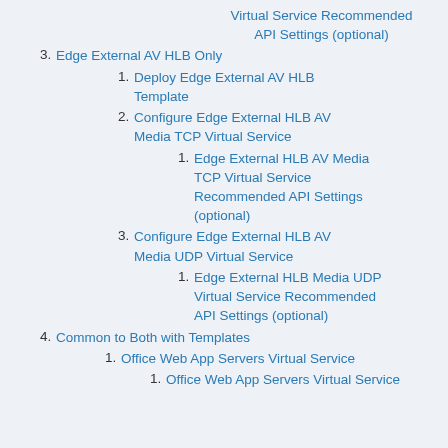Virtual Service Recommended API Settings (optional)
3. Edge External AV HLB Only
1. Deploy Edge External AV HLB Template
2. Configure Edge External HLB AV Media TCP Virtual Service
1. Edge External HLB AV Media TCP Virtual Service Recommended API Settings (optional)
3. Configure Edge External HLB AV Media UDP Virtual Service
1. Edge External HLB Media UDP Virtual Service Recommended API Settings (optional)
4. Common to Both with Templates
1. Office Web App Servers Virtual Service
1. Office Web App Servers Virtual Service